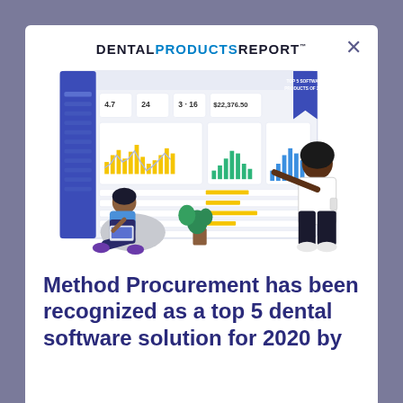[Figure (logo): Dental Products Report logo with DENTAL in black, PRODUCTS in blue, REPORT in black, all caps bold, with TM superscript]
[Figure (illustration): Software dashboard UI mockup with a woman sitting in a chair using a laptop and a standing person pointing at the dashboard screen. Dashboard shows charts including bar charts and line charts in yellow, green, and blue. A banner in the top right corner reads 'TOP 5 SOFTWARE PRODUCTS OF 2020'.]
Method Procurement has been recognized as a top 5 dental software solution for 2020 by